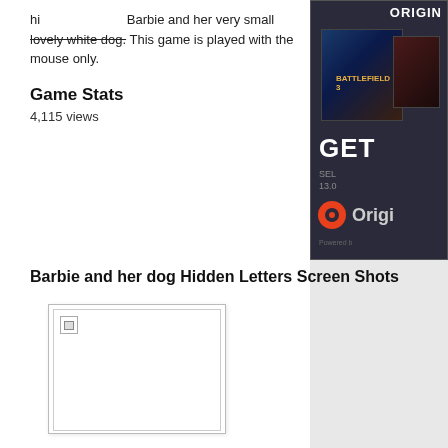hi Barbie and her very small lovely white dog. This game is played with the mouse only.
Game Stats
4,115 views
[Figure (screenshot): Origin advertisement banner featuring Battlefield 3 game cover, GET text, SEL text, 13.0 number, and Origin logo with orange hurricane icon]
Barbie and her dog Hidden Letters Screen Shots
[Figure (screenshot): Broken image placeholder with small broken image icon in top-left corner]
Game Tags